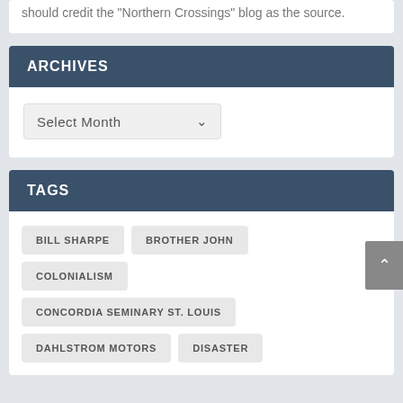should credit the "Northern Crossings" blog as the source.
ARCHIVES
Select Month
TAGS
BILL SHARPE
BROTHER JOHN
COLONIALISM
CONCORDIA SEMINARY ST. LOUIS
DAHLSTROM MOTORS
DISASTER